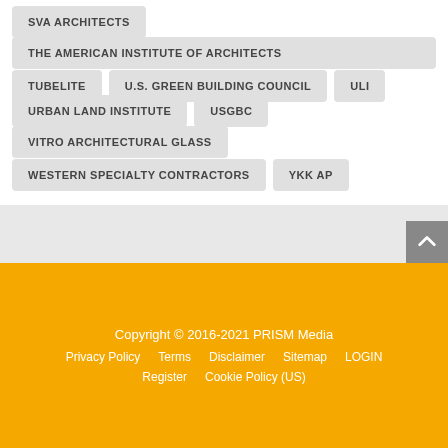SVA ARCHITECTS
THE AMERICAN INSTITUTE OF ARCHITECTS
TUBELITE
U.S. GREEN BUILDING COUNCIL
ULI
URBAN LAND INSTITUTE
USGBC
VITRO ARCHITECTURAL GLASS
WESTERN SPECIALTY CONTRACTORS
YKK AP
Copyright © 2016-2021 PRISM Media
Privacy Policy | Terms | Disclaimer | Sitemap | LOGIN
Register | Cookie Policy (US)